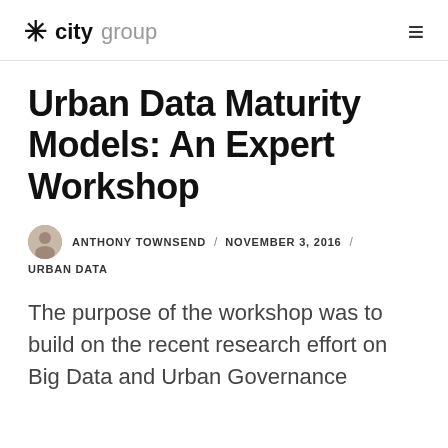* city group
Urban Data Maturity Models: An Expert Workshop
ANTHONY TOWNSEND / NOVEMBER 3, 2016 / URBAN DATA
The purpose of the workshop was to build on the recent research effort on Big Data and Urban Governance